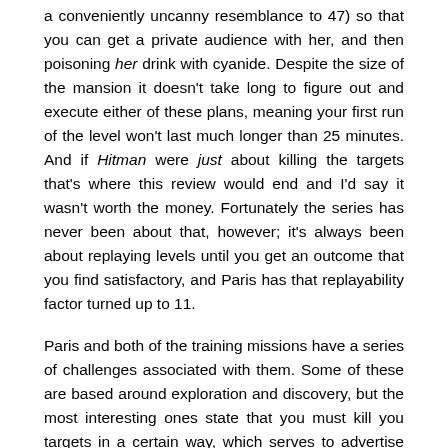a conveniently uncanny resemblance to 47) so that you can get a private audience with her, and then poisoning her drink with cyanide. Despite the size of the mansion it doesn't take long to figure out and execute either of these plans, meaning your first run of the level won't last much longer than 25 minutes. And if Hitman were just about killing the targets that's where this review would end and I'd say it wasn't worth the money. Fortunately the series has never been about that, however; it's always been about replaying levels until you get an outcome that you find satisfactory, and Paris has that replayability factor turned up to 11.
Paris and both of the training missions have a series of challenges associated with them. Some of these are based around exploration and discovery, but the most interesting ones state that you must kill you targets in a certain way, which serves to advertise the vast array of solutions to the Paris puzzle that are available. I've killed Victor by drowning him in a toilet, pushing him into the Seine and dropping the catwalk lights on top of him, but there's also an opportunity to lure him outside with fireworks before sniping him from a nearby piledriver boat-thing, as well as one for assassinating him with explosives planted inside a camera while he gives an interview. I know this because there are challenges for them. For Dalia there appears to be a ridiculously comprehensive range of options for infiltrating the auction she's